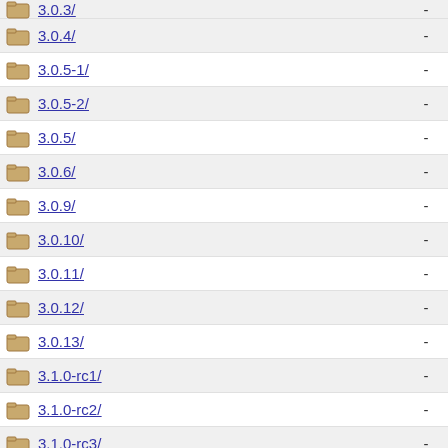3.0.3/
3.0.4/
3.0.5-1/
3.0.5-2/
3.0.5/
3.0.6/
3.0.9/
3.0.10/
3.0.11/
3.0.12/
3.0.13/
3.1.0-rc1/
3.1.0-rc2/
3.1.0-rc3/